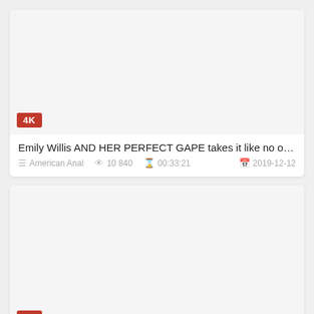[Figure (other): Video thumbnail placeholder (white/light gray rectangle) with a red 4K badge in the bottom-left corner]
Emily Willis AND HER PERFECT GAPE takes it like no one els...
American Anal  10 840  00:33:21  2019-12-12
[Figure (other): Second video thumbnail placeholder (white/light gray rectangle) with a red 4K badge in the bottom-left corner, partially visible]